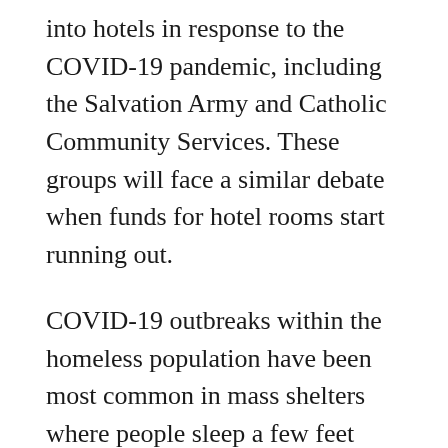into hotels in response to the COVID-19 pandemic, including the Salvation Army and Catholic Community Services. These groups will face a similar debate when funds for hotel rooms start running out.
COVID-19 outbreaks within the homeless population have been most common in mass shelters where people sleep a few feet apart and share common areas, restrooms, and other facilities. According to the King County Public Health department, which monitors an incomplete list of about 50 shelters around the county, most reported cases of COVID-19 among the county's homeless population have occurred in congregate shelters,